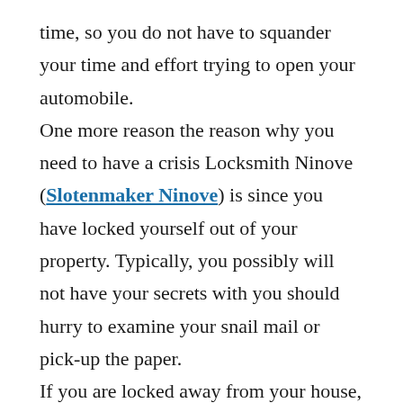time, so you do not have to squander your time and effort trying to open your automobile.

One more reason the reason why you need to have a crisis Locksmith Ninove (Slotenmaker Ninove) is since you have locked yourself out of your property. Typically, you possibly will not have your secrets with you should hurry to examine your snail mail or pick-up the paper. If you are locked away from your house, you